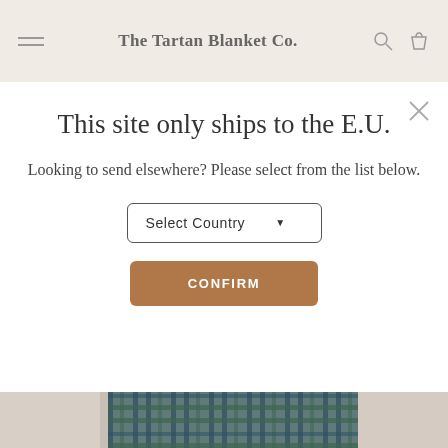The Tartan Blanket Co.
This site only ships to the E.U.
Looking to send elsewhere? Please select from the list below.
Select Country
CONFIRM
[Figure (photo): Background product photo showing a tartan/plaid blanket in dark green and grey tones displayed in a light beige setting]